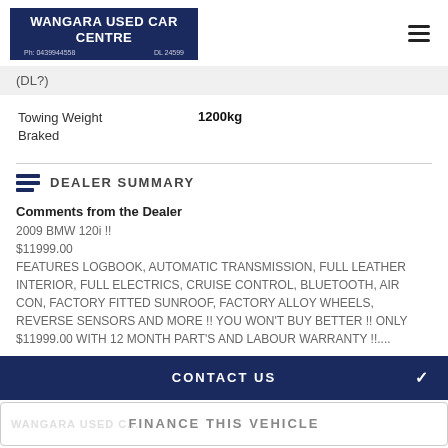WANGARA USED CAR CENTRE Ph: 0439944558 DL 24599
(DL?)
| Field | Value |
| --- | --- |
| Towing Weight Braked | 1200kg |
DEALER SUMMARY
Comments from the Dealer
2009 BMW 120i !!
$11999.00
FEATURES LOGBOOK, AUTOMATIC TRANSMISSION, FULL LEATHER INTERIOR, FULL ELECTRICS, CRUISE CONTROL, BLUETOOTH, AIR CON, FACTORY FITTED SUNROOF, FACTORY ALLOY WHEELS, REVERSE SENSORS AND MORE !! YOU WON'T BUY BETTER !! ONLY $11999.00 WITH 12 MONTH PART'S AND LABOUR WARRANTY !!....
CONTACT US
FINANCE THIS VEHICLE